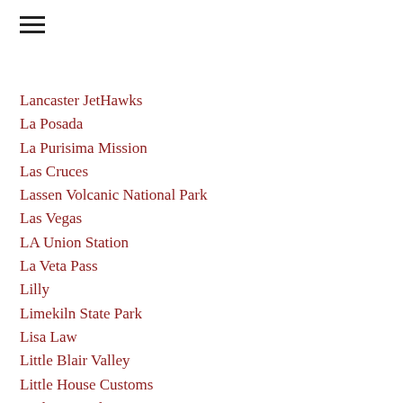Lancaster JetHawks
La Posada
La Purisima Mission
Las Cruces
Lassen Volcanic National Park
Las Vegas
LA Union Station
La Veta Pass
Lilly
Limekiln State Park
Lisa Law
Little Blair Valley
Little House Customs
Little Painted Desert
Lizard
Lizard Head Pass
Liz Kylin
Lori Carey